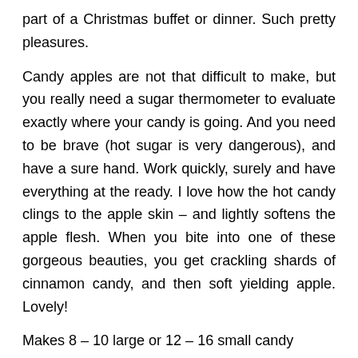part of a Christmas buffet or dinner. Such pretty pleasures.
Candy apples are not that difficult to make, but you really need a sugar thermometer to evaluate exactly where your candy is going. And you need to be brave (hot sugar is very dangerous), and have a sure hand. Work quickly, surely and have everything at the ready. I love how the hot candy clings to the apple skin – and lightly softens the apple flesh. When you bite into one of these gorgeous beauties, you get crackling shards of cinnamon candy, and then soft yielding apple. Lovely!
Makes 8 – 10 large or 12 – 16 small candy apples
12 – 16 small apples (or 8 – 10 large) – try and get the small ones if you can, but if not, a strong red skinned apple is fine